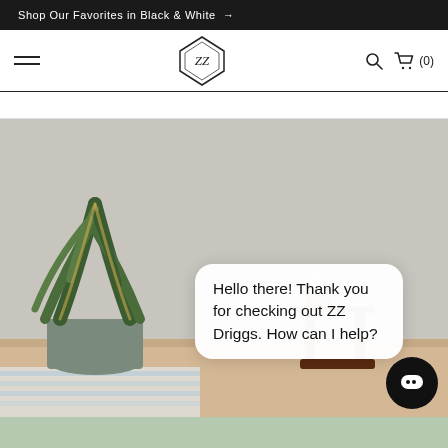Shop Our Favorites in Black & White →
[Figure (logo): ZZ Driggs diamond logo with hamburger menu, search icon, and cart (0)]
[Figure (photo): Interior lifestyle photo showing a snake plant in a grey pot next to a small wooden side table with a candle, on a striped rug, against a grey wall]
Hello there! Thank you for checking out ZZ Driggs. How can I help?